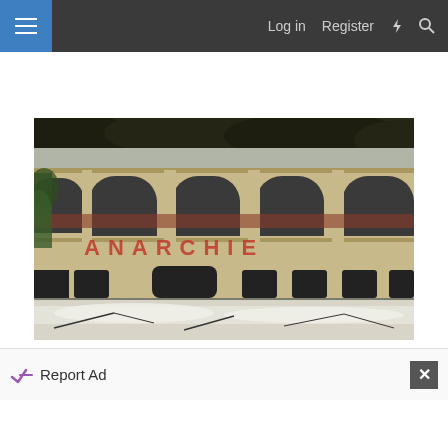Log in  Register
[Figure (photo): Abandoned stone building facade with large arched windows, graffiti reading ANARCHIE, ivy growth, and snow on the ground in front.]
Report Ad